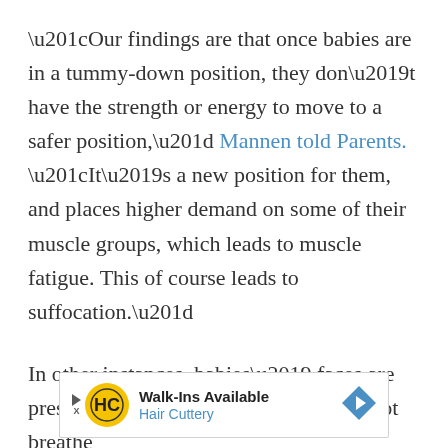“Our findings are that once babies are in a tummy-down position, they don’t have the strength or energy to move to a safer position,” Mannen told Parents. “It’s a new position for them, and places higher demand on some of their muscle groups, which leads to muscle fatigue. This of course leads to suffocation.”
In other instances, babies’ faces are pressed against the plush sides and cannot breathe
[Figure (other): Advertisement banner for Hair Cuttery - Walk-Ins Available]